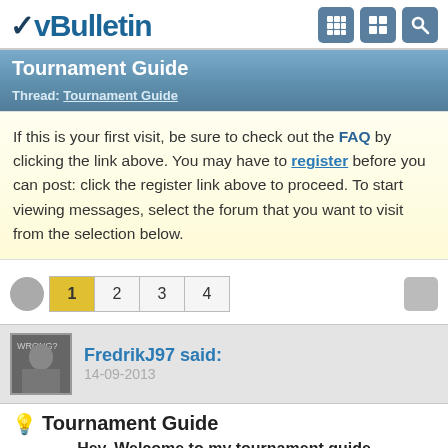vBulletin
Tournament Guide
Thread: Tournament Guide
If this is your first visit, be sure to check out the FAQ by clicking the link above. You may have to register before you can post: click the register link above to proceed. To start viewing messages, select the forum that you want to visit from the selection below.
1 2 3 4
FredrikJ97 said:
14-09-2013
Tournament Guide
Hey, Welcome to my tournament guide